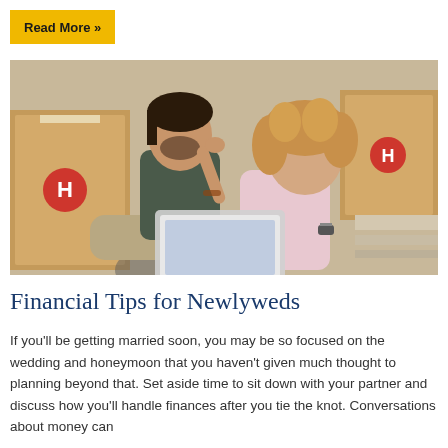Read More »
[Figure (photo): A young couple sitting on the floor surrounded by moving boxes, looking together at a tablet or laptop.]
Financial Tips for Newlyweds
If you'll be getting married soon, you may be so focused on the wedding and honeymoon that you haven't given much thought to planning beyond that. Set aside time to sit down with your partner and discuss how you'll handle finances after you tie the knot. Conversations about money can